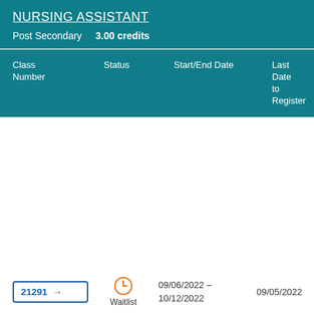NURSING ASSISTANT
Post Secondary   3.00 credits
| Class Number | Status | Start/End Date | Last Date to Register |
| --- | --- | --- | --- |
| 21291 → | Waitlist | 09/06/2022 - 10/12/2022 | 09/05/2022 |